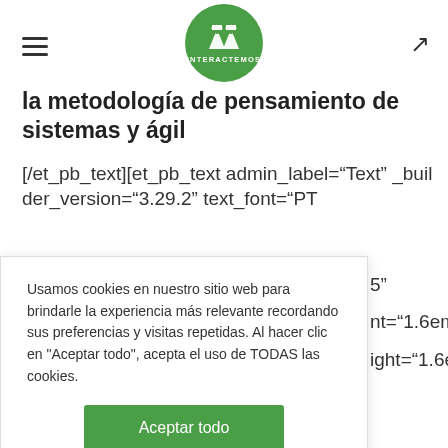INTERACTEMOS [logo header with hamburger menu and expand icon]
la metodología de pensamiento de sistemas y ágil
[/et_pb_text][et_pb_text admin_label="Text" _builder_version="3.29.2" text_font="PT
Usamos cookies en nuestro sitio web para brindarle la experiencia más relevante recordando sus preferencias y visitas repetidas. Al hacer clic en "Aceptar todo", acepta el uso de TODAS las cookies.
Aceptar todo
5" nt="1.6em" ight="1.6em"
text_font_size_tablet_////